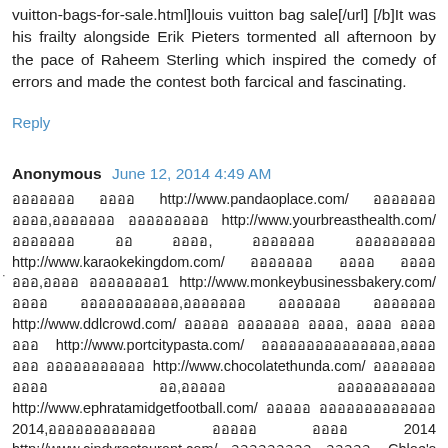vuitton-bags-for-sale.html]louis vuitton bag sale[/url] [/b]It was his frailty alongside Erik Pieters tormented all afternoon by the pace of Raheem Sterling which inspired the comedy of errors and made the contest both farcical and fascinating.
Reply
Anonymous  June 12, 2014 4:49 AM
อออออออ ออออ http://www.pandaoplace.com/ อออออออ ออออ,อออออออ อออออออ http://www.yourbreasthealth.com/ อออออออ ออ ออออ, อออออออ อออออออออ http://www.karaokekingdom.com/ อออออออ ออออ ออออออ,ออออ ออออออออ1 http://www.monkeybusinessbakery.com/ ออออ อออออออออออ,อออออออ อออออออ อออออออ http://www.ddlcrowd.com/ อออออ อออออออ ออออ, ออออ ออออ อออ http://www.portcitypasta.com/ อออออออออออออออ,อออออออ อออออออออออ http://www.chocolatethunda.com/ อออออออ ออออ ออ,อออออ อออออออออออ http://www.ephratamidgetfootball.com/ อออออ อออออออออออออ 2014,ออออออออออออ อออออ ออออ 2014 http://www.cindyrestaurant.com/ อออออออออ อออออ ,Chloe's pony is Soup, a mild Greyish Nederlander Warmblood stallion who else conveys Chloe's interest of confidence to the level he feels he is the most capable